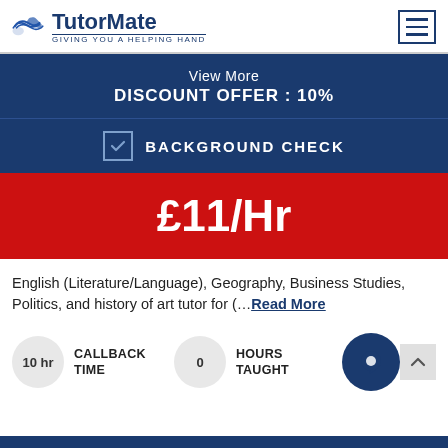TutorMate — GIVING YOU A HELPING HAND
View More
DISCOUNT OFFER : 10%
BACKGROUND CHECK
£11/Hr
English (Literature/Language), Geography, Business Studies, Politics, and history of art tutor for (...Read More
10 hr  CALLBACK TIME    0  HOURS TAUGHT